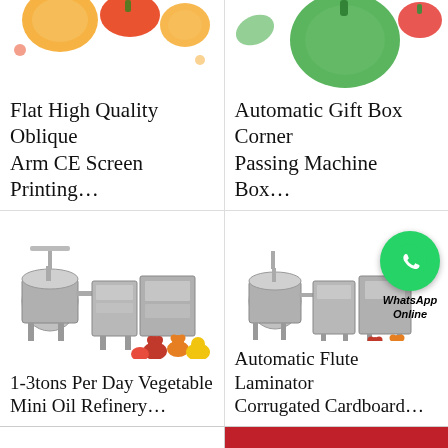[Figure (illustration): Top-left product image area with colorful fruit/vegetable decorations (orange, red, green peppers) for screen printing machine product]
Flat High Quality Oblique Arm CE Screen Printing…
[Figure (illustration): Top-right product image area with colorful green pepper and vegetables for automatic gift box corner passing machine product]
Automatic Gift Box Corner Passing Machine Box…
[Figure (illustration): Mid-left product image showing industrial oil refinery machinery with gummy candy decorations]
1-3tons Per Day Vegetable Mini Oil Refinery…
[Figure (illustration): Mid-right product image showing automatic flute laminator machinery with gummy candy decorations and WhatsApp Online overlay]
Automatic Flute Laminator Corrugated Cardboard…
All Products
Contact Now